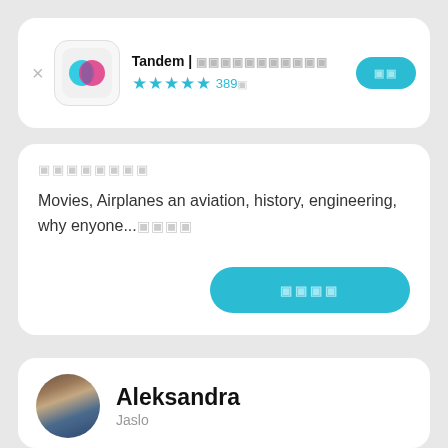[Figure (screenshot): App store listing for Tandem language exchange app showing app icon with teal and pink overlapping circles, app name 'Tandem | 외국어 교환 학습', 4.5 star rating with 389건, and install button]
Movies, Airplanes an aviation, history, engineering, why enyone...🙂
[Figure (other): Teal rounded rectangle button with white placeholder characters (한글 대화 시작)]
[Figure (photo): Profile photo of Aleksandra, a woman with long brown hair]
Aleksandra
Jaslo
🔤
🇵🇱 한